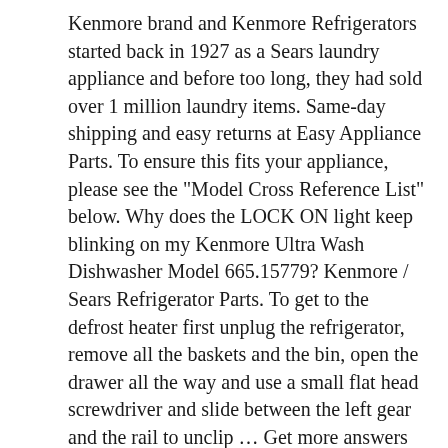Kenmore brand and Kenmore Refrigerators started back in 1927 as a Sears laundry appliance and before too long, they had sold over 1 million laundry items. Same-day shipping and easy returns at Easy Appliance Parts. To ensure this fits your appliance, please see the "Model Cross Reference List" below. Why does the LOCK ON light keep blinking on my Kenmore Ultra Wash Dishwasher Model 665.15779? Kenmore / Sears Refrigerator Parts. To get to the defrost heater first unplug the refrigerator, remove all the baskets and the bin, open the drawer all the way and use a small flat head screwdriver and slide between the left gear and the rail to unclip ... Get more answers from the people in your networks, This code indicates a problem with the defrost system. Some side-by-side models come with a convenient water and ice dispenser in the door, and some of these give you options for ice cubes or shards. View and Download Sears Kenmore repair manual online. We